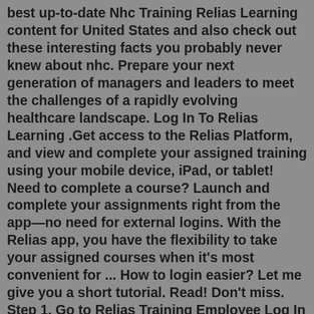best up-to-date Nhc Training Relias Learning content for United States and also check out these interesting facts you probably never knew about nhc. Prepare your next generation of managers and leaders to meet the challenges of a rapidly evolving healthcare landscape. Log In To Relias Learning .Get access to the Relias Platform, and view and complete your assigned training using your mobile device, iPad, or tablet! Need to complete a course? Launch and complete your assignments right from the app—no need for external logins. With the Relias app, you have the flexibility to take your assigned courses when it's most convenient for ... How to login easier? Let me give you a short tutorial. Read! Don't miss. Step 1. Go to Relias Training Employee Log In website using the links below ; Step 2. Enter your Username and Password and click on Log In ; Step 3. If there are any problems, here are some of our suggestions Mobile Workforce Enablement. Get the right resources to the right people in the right place—